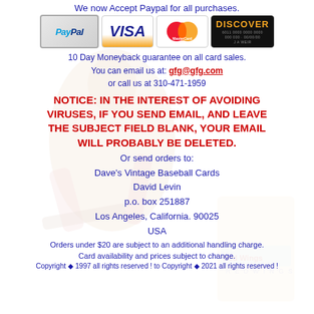We now Accept Paypal for all purchases.
[Figure (logo): Payment method logos: PayPal, VISA, MasterCard, Discover]
10 Day Moneyback guarantee on all card sales.
You can email us at: gfg@gfg.com
or call us at 310-471-1959
NOTICE: IN THE INTEREST OF AVOIDING VIRUSES, IF YOU SEND EMAIL, AND LEAVE THE SUBJECT FIELD BLANK, YOUR EMAIL WILL PROBABLY BE DELETED.
Or send orders to:
Dave's Vintage Baseball Cards
David Levin
p.o. box 251887
Los Angeles, California. 90025
USA
Orders under $20 are subject to an additional handling charge.
Card availability and prices subject to change.
Copyright ◆ 1997 all rights reserved ! to Copyright ◆ 2021 all rights reserved !